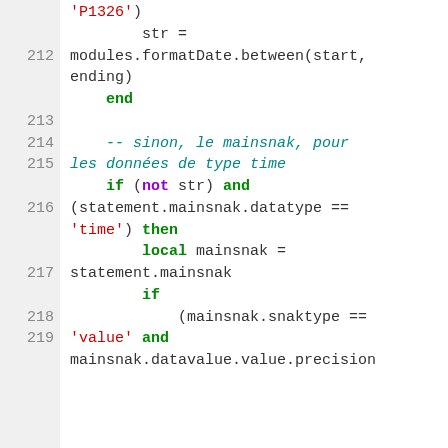Code snippet lines 212-219 showing Lua/scripting code with string formatting, conditional logic for time datatype, and mainsnak handling